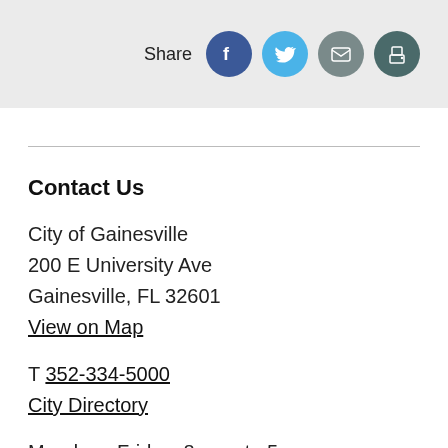Share
Contact Us
City of Gainesville
200 E University Ave
Gainesville, FL 32601
View on Map
T 352-334-5000
City Directory
Monday - Friday  8 a.m. to 5 p.m.
Closed on Holidays